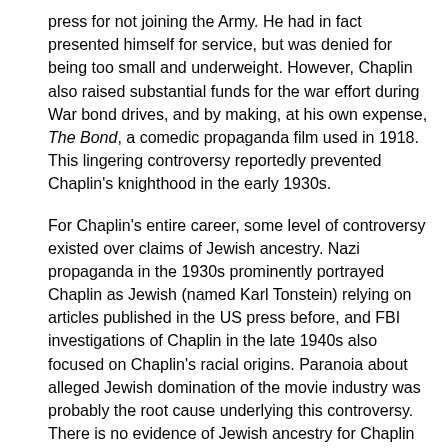press for not joining the Army. He had in fact presented himself for service, but was denied for being too small and underweight. However, Chaplin also raised substantial funds for the war effort during War bond drives, and by making, at his own expense, The Bond, a comedic propaganda film used in 1918. This lingering controversy reportedly prevented Chaplin's knighthood in the early 1930s.
For Chaplin's entire career, some level of controversy existed over claims of Jewish ancestry. Nazi propaganda in the 1930s prominently portrayed Chaplin as Jewish (named Karl Tonstein) relying on articles published in the US press before, and FBI investigations of Chaplin in the late 1940s also focused on Chaplin's racial origins. Paranoia about alleged Jewish domination of the movie industry was probably the root cause underlying this controversy. There is no evidence of Jewish ancestry for Chaplin himself. Chaplin's half-brother, Sydney, was three-fourths-Jewish , but he was never a practising Jew. For his entire public life, Chaplin fiercely refused to challenge or refute such claims, saying that to do so would always "play directly into the hands of anti-Semites". His fearless portrayal of Jewish persecution in The Great Dictator bears this conviction out. In the biographical film, Chaplin, there is a fictional confrontation with a Nazi in which Chaplin responded to his query if he was a Jew with, "I'm afraid I don't have that honour."
Chaplin has also figured in the mysterious events surrounding the death of producer Thomas Ince aboard the yacht of William Randolph Hearst in